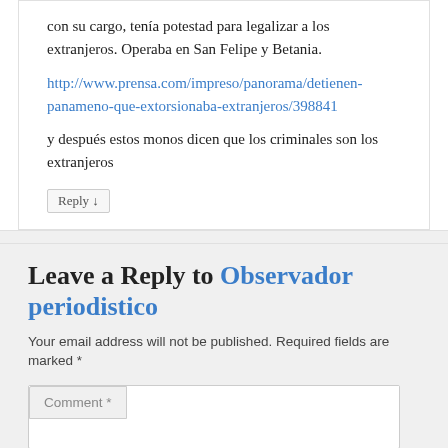con su cargo, tenía potestad para legalizar a los extranjeros. Operaba en San Felipe y Betania.
http://www.prensa.com/impreso/panorama/detienen-panameno-que-extorsionaba-extranjeros/398841
y después estos monos dicen que los criminales son los extranjeros
Reply ↓
Leave a Reply to Observador periodistico
Your email address will not be published. Required fields are marked *
Comment *